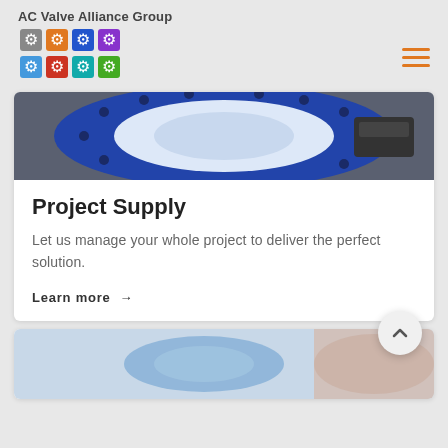AC Valve Alliance Group
[Figure (logo): AC Valve Alliance Group logo with colorful interlocking puzzle pieces in grey, orange, blue, purple, red, teal and green colors arranged in a 2x3 grid]
[Figure (photo): Large blue industrial butterfly valve or gate valve showing circular flange with bolt holes on a work surface]
Project Supply
Let us manage your whole project to deliver the perfect solution.
Learn more →
[Figure (photo): Partial view of industrial valve equipment in blue and beige/pink tones, partially visible at bottom of page]